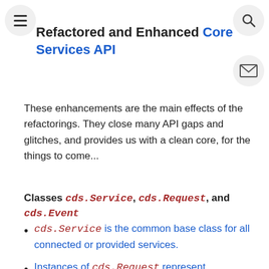Refactored and Enhanced Core Services API
These enhancements are the main effects of the refactorings. They close many API gaps and glitches, and provides us with a clean core, for the things to come...
Classes cds.Service, cds.Request, and cds.Event
cds.Service is the common base class for all connected or provided services.
Instances of cds.Request represent synchronous requests.